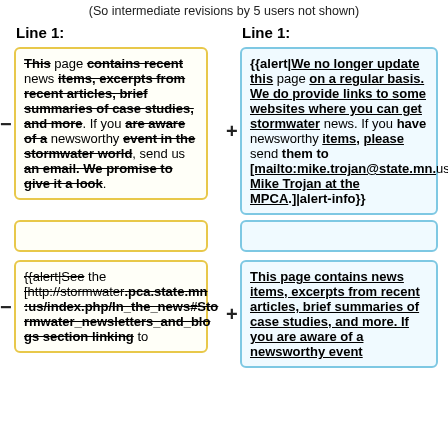(So intermediate revisions by 5 users not shown)
Line 1:
Line 1:
This page contains recent news items, excerpts from recent articles, brief summaries of case studies, and more. If you are aware of a newsworthy event in the stormwater world, send us an email. We promise to give it a look.
{{alert|We no longer update this page on a regular basis. We do provide links to some websites where you can get stormwater news. If you have newsworthy items, please send them to [mailto:mike.trojan@state.mn.us Mike Trojan at the MPCA.]|alert-info}}
{{alert|See the [http://stormwater.pca.state.mn.us/index.php/In_the_news#Stormwater_newsletters_and_blogs section linking to
This page contains news items, excerpts from recent articles, brief summaries of case studies, and more. If you are aware of a newsworthy event